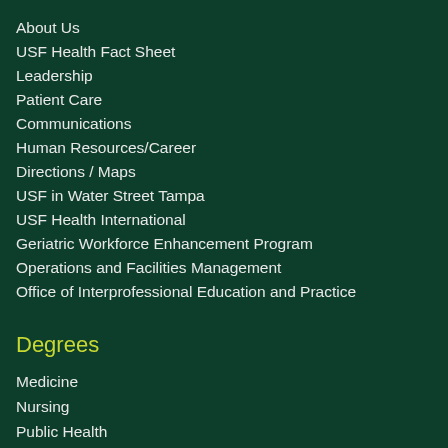About Us
USF Health Fact Sheet
Leadership
Patient Care
Communications
Human Resources/Career
Directions / Maps
USF in Water Street Tampa
USF Health International
Geriatric Workforce Enhancement Program
Operations and Facilities Management
Office of Interprofessional Education and Practice
Degrees
Medicine
Nursing
Public Health